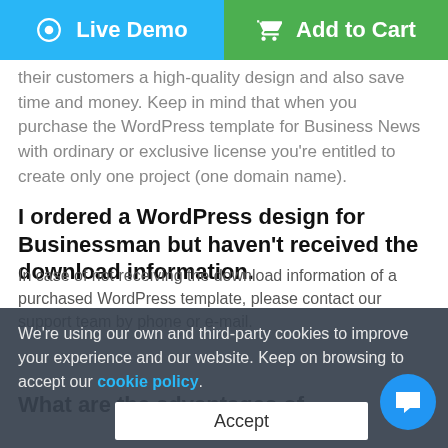[Figure (other): Two buttons: 'Live Demo' (blue) and 'Add to Cart' (green)]
their customers a high-quality design and also save time and money. Keep in mind that when you purchase the WordPress template for Business News with ordinary or exclusive license you're entitled to create only one project (one domain name).
I ordered a WordPress design for Businessman but haven't received the download information.
In case of not receiving the download information of a purchased WordPress template, please contact our support team by phone or e-mail.
We're using our own and third-party cookies to improve your experience and our website. Keep on browsing to accept our cookie policy.
[Figure (other): Accept button (white bar)]
What are the advantages of